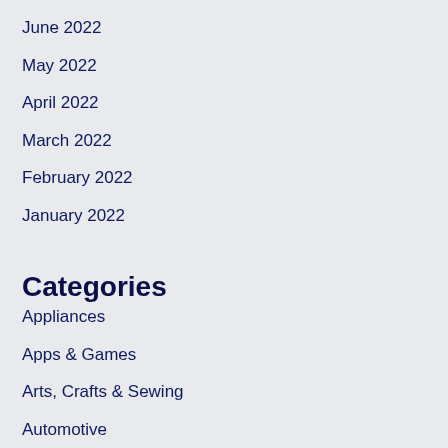June 2022
May 2022
April 2022
March 2022
February 2022
January 2022
Categories
Appliances
Apps & Games
Arts, Crafts & Sewing
Automotive
Baby
Beauty & Personal Care
Best Products